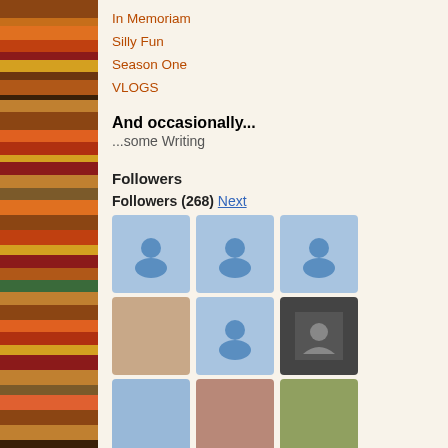[Figure (photo): Bookshelf with colorful spines on the left edge]
In Memoriam
Silly Fun
Season One
VLOGS
And occasionally...
...some Writing
Followers
Followers (268) Next
[Figure (photo): Grid of follower avatar thumbnails — 18 visible avatars, some blue placeholder silhouettes, some real photos]
[Figure (photo): Thumbnail image with MEANW text overlay]
Facebook Com
Well....it final to literal. At o
[Figure (illustration): Venn diagram: What the author thinks vs What some English teacher thinks the author meant]
5 Reasons I A
So if you've b turd of a mem
[Figure (photo): Black image with white text: STOP THE STIGMA OF MENTAL ILLNESS]
Don't Let The
My suspicion is that it's goir
[Figure (illustration): Four-panel comic strip]
The Narrative
Come see the cartoon/ If yo